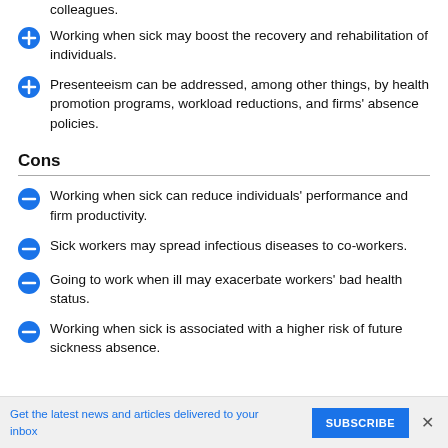colleagues.
Working when sick may boost the recovery and rehabilitation of individuals.
Presenteeism can be addressed, among other things, by health promotion programs, workload reductions, and firms' absence policies.
Cons
Working when sick can reduce individuals' performance and firm productivity.
Sick workers may spread infectious diseases to co-workers.
Going to work when ill may exacerbate workers' bad health status.
Working when sick is associated with a higher risk of future sickness absence.
Get the latest news and articles delivered to your inbox   SUBSCRIBE